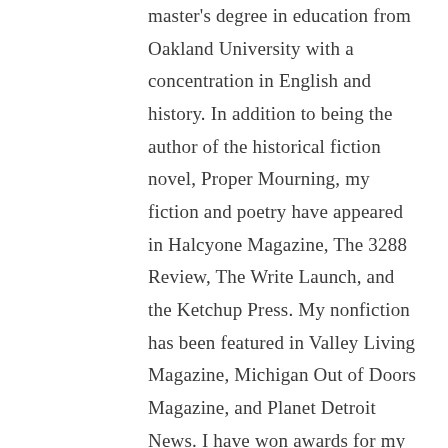master's degree in education from Oakland University with a concentration in English and history. In addition to being the author of the historical fiction novel, Proper Mourning, my fiction and poetry have appeared in Halcyone Magazine, The 3288 Review, The Write Launch, and the Ketchup Press. My nonfiction has been featured in Valley Living Magazine, Michigan Out of Doors Magazine, and Planet Detroit News. I have won awards for my writing through Oakland University, and I'm currently producing and directing a documentary film about